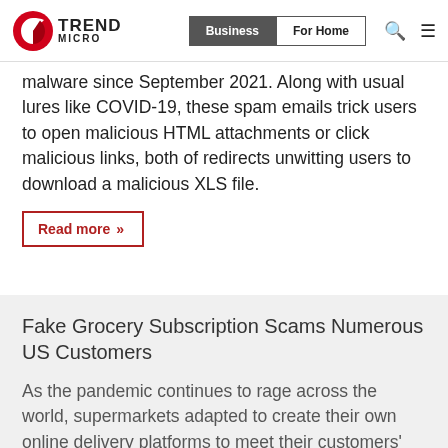Trend Micro | Business | For Home
malware since September 2021. Along with usual lures like COVID-19, these spam emails trick users to open malicious HTML attachments or click malicious links, both of redirects unwitting users to download a malicious XLS file.
Read more »
Fake Grocery Subscription Scams Numerous US Customers
As the pandemic continues to rage across the world, supermarkets adapted to create their own online delivery platforms to meet their customers' needs. One particular service is the